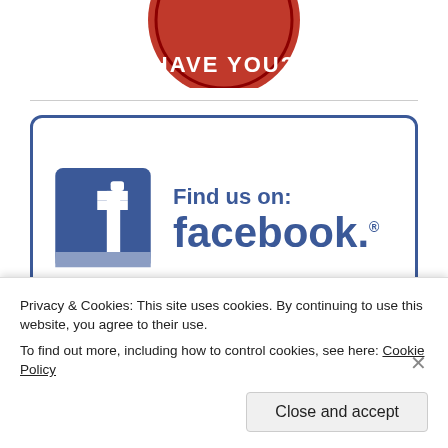[Figure (logo): Partial red circular badge with text 'HAVE YOU?' visible at top]
[Figure (logo): Facebook 'Find us on: facebook.' promotional banner with Facebook icon (blue square with white f logo) and text in dark blue]
Privacy & Cookies: This site uses cookies. By continuing to use this website, you agree to their use.
To find out more, including how to control cookies, see here: Cookie Policy
Close and accept